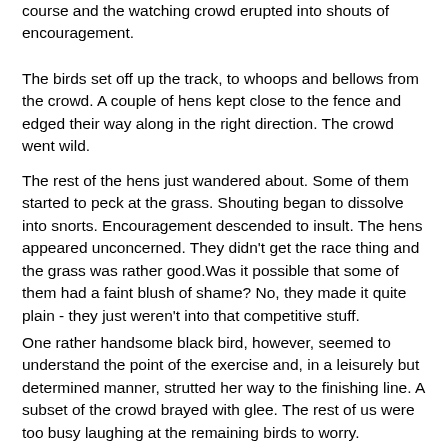course and the watching crowd erupted into shouts of encouragement.
The birds set off up the track, to whoops and bellows from the crowd. A couple of hens kept close to the fence and edged their way along in the right direction. The crowd went wild.
The rest of the hens just wandered about. Some of them started to peck at the grass. Shouting began to dissolve into snorts. Encouragement descended to insult. The hens appeared unconcerned. They didn't get the race thing and the grass was rather good.Was it possible that some of them had a faint blush of shame? No, they made it quite plain - they just weren't into that competitive stuff.
One rather handsome black bird, however, seemed to understand the point of the exercise and, in a leisurely but determined manner, strutted her way to the finishing line. A subset of the crowd brayed with glee. The rest of us were too busy laughing at the remaining birds to worry. Especially once the humans started trying to catch their chickens. Then the...and the crowd...The aviation chickens to...